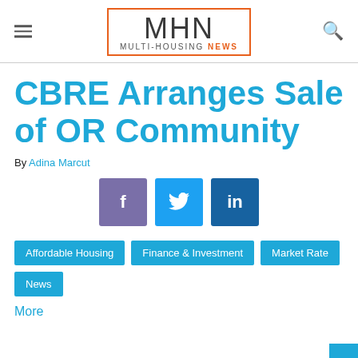Multi-Housing News
CBRE Arranges Sale of OR Community
By Adina Marcut
[Figure (other): Social sharing buttons: Facebook, Twitter, LinkedIn]
Affordable Housing
Finance & Investment
Market Rate
News
More